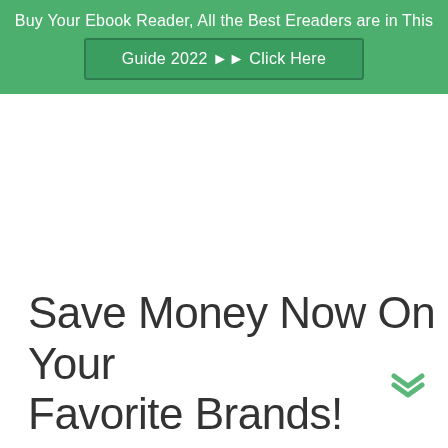Buy Your Ebook Reader, All the Best Ereaders are in This Guide 2022 ►► Click Here
Save Money Now On Your Favorite Brands!